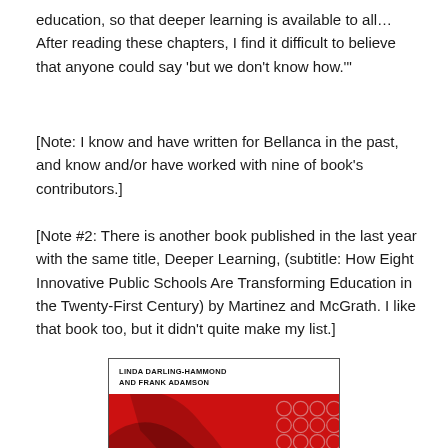education, so that deeper learning is available to all… After reading these chapters, I find it difficult to believe that anyone could say 'but we don't know how.'"
[Note: I know and have written for Bellanca in the past, and know and/or have worked with nine of book's contributors.]
[Note #2: There is another book published in the last year with the same title, Deeper Learning, (subtitle: How Eight Innovative Public Schools Are Transforming Education in the Twenty-First Century) by Martinez and McGrath. I like that book too, but it didn't quite make my list.]
[Figure (photo): Book cover showing 'LINDA DARLING-HAMMOND and FRANK ADAMSON' in text on white background above a red cover section with circular pattern design]